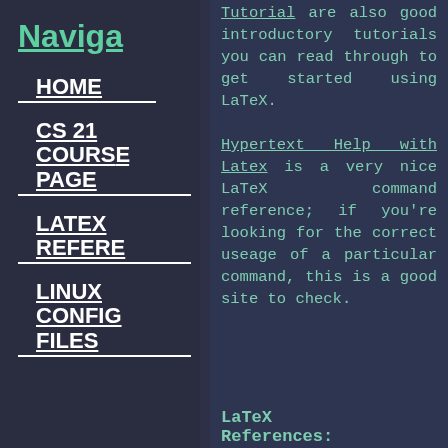Naviga
HOME
CS 21 COURSE PAGE
LATEX REFERE
LINUX CONFIG FILES
Tutorial are also good introductory tutorials you can read through to get started using LaTeX.
Hypertext Help with Latex is a very nice LaTeX command reference; if you're looking for the correct useage of a particular command, this is a good site to check.
LaTeX References: